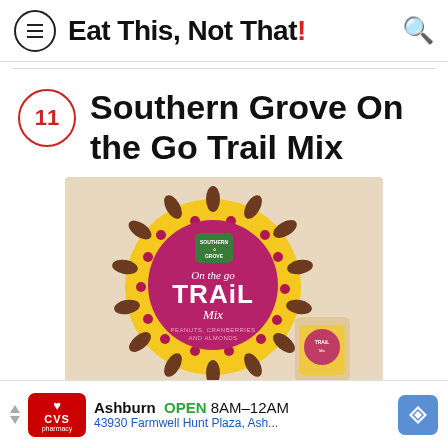Eat This, Not That!
11 Southern Grove On the Go Trail Mix
[Figure (photo): Product packaging photo of Southern Grove On the Go Trail Mix — a square box with a beige/kraft background, yellow circular sunflower pattern with seeds and cranberries, a magenta/purple circle in the center with a green Southern Grove crest logo and white text reading 'On the go TRAIL Mix' and 'Peanuts, Cranberries and Almonds'. A small individual serving pouch is visible bottom-right.]
Ashburn  OPEN  8AM–12AM
43930 Farmwell Hunt Plaza, Ash...